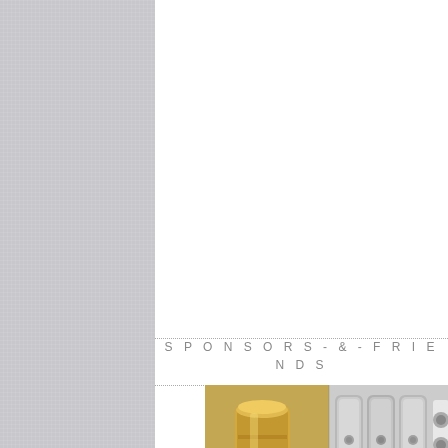SPONSORS-&-FRIENDS
[Figure (photo): Close-up photograph of brass musical instrument valves/keys and metallic parts, showing gold and silver colored instrument components]